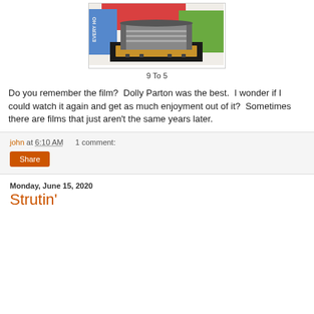[Figure (photo): A miniature sculpture or artwork of a filing cabinet or industrial machine placed on a wooden base, set against a collage background with text reading 'EVERY HO' and the number '43', with colorful painted panels in red, blue, and green.]
9 To 5
Do you remember the film?  Dolly Parton was the best.  I wonder if I could watch it again and get as much enjoyment out of it?  Sometimes there are films that just aren't the same years later.
john at 6:10 AM    1 comment:
Share
Monday, June 15, 2020
Strutin'